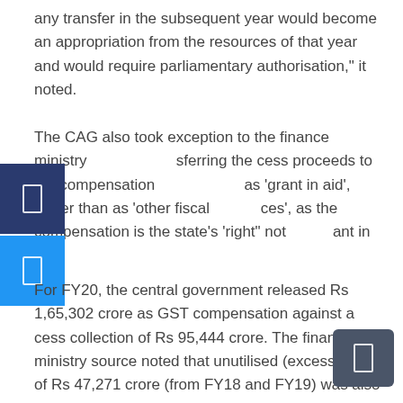any transfer in the subsequent year would become an appropriation from the resources of that year and would require parliamentary authorisation," it noted.
The CAG also took exception to the finance ministry transferring the cess proceeds to the compensation fund as 'grant in aid', rather than as 'other fiscal resources', as the compensation is the state's 'right" not a grant in aid'.
For FY20, the central government released Rs 1,65,302 crore as GST compensation against a cess collection of Rs 95,444 crore. The finance ministry source noted that unutilised (excess) cess of Rs 47,271 crore (from FY18 and FY19) was also distributed to states during FY20. Also, as FE reported earlier, Rs 33,412 crore of unutilised I-GST collections for FY18 was also used to compensate the states in FY20.